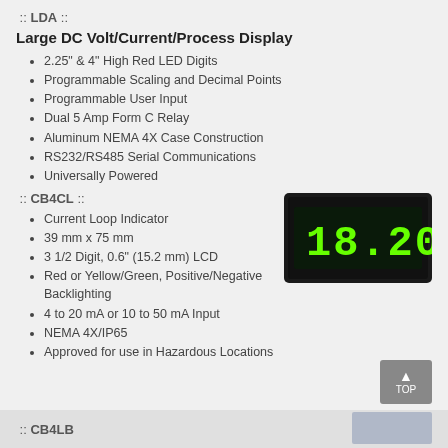:: LDA ::
Large DC Volt/Current/Process Display
2.25" & 4" High Red LED Digits
Programmable Scaling and Decimal Points
Programmable User Input
Dual 5 Amp Form C Relay
Aluminum NEMA 4X Case Construction
RS232/RS485 Serial Communications
Universally Powered
:: CB4CL ::
[Figure (photo): CB4CL Current Loop Indicator device showing green LED digits displaying 18.20 on black rectangular panel]
Current Loop Indicator
39 mm x 75 mm
3 1/2 Digit, 0.6" (15.2 mm) LCD
Red or Yellow/Green, Positive/Negative Backlighting
4 to 20 mA or 10 to 50 mA Input
NEMA 4X/IP65
Approved for use in Hazardous Locations
:: CB4LB ::